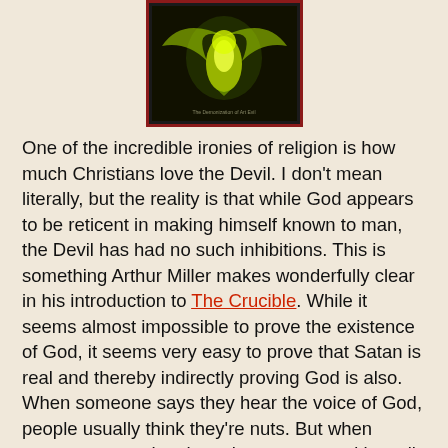[Figure (illustration): Book/movie cover image with a green-yellow demonic or angelic figure on a dark background, framed with a dark red border.]
One of the incredible ironies of religion is how much Christians love the Devil. I don't mean literally, but the reality is that while God appears to be reticent in making himself known to man, the Devil has had no such inhibitions. This is something Arthur Miller makes wonderfully clear in his introduction to The Crucible. While it seems almost impossible to prove the existence of God, it seems very easy to prove that Satan is real and thereby indirectly proving God is also. When someone says they hear the voice of God, people usually think they're nuts. But when someone says they have been contacted by evil spirits, people look at them wide-eyed with more than a willingness to believe. This is really the great trick of The Exorcist, first a best-selling novel by William Peter Blatty and then a blockbuster movie phenomenon when it was initially released. Several sequels followed and it has since become a franchise. Unlike monster movies that present a terror from without, this film's secret lies in the idea that no one is safe from the spirit